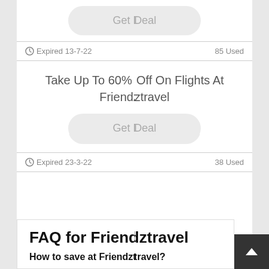Get Deal
Expired 13-7-22   85 Used
Take Up To 60% Off On Flights At Friendztravel
Get Deal
Expired 23-3-22   38 Used
FAQ for Friendztravel
How to save at Friendztravel?